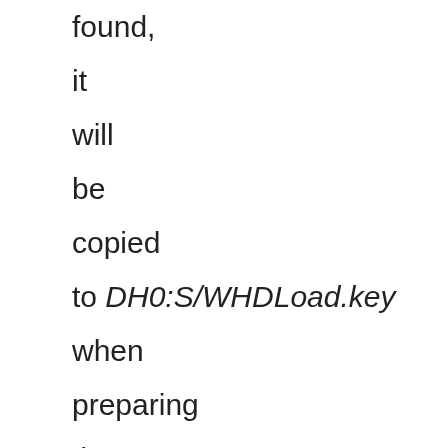found, it will be copied to DH0:S/WHDLoad.key when preparing the temporary hard drive. This only applies to people having purchased WHDLoad before